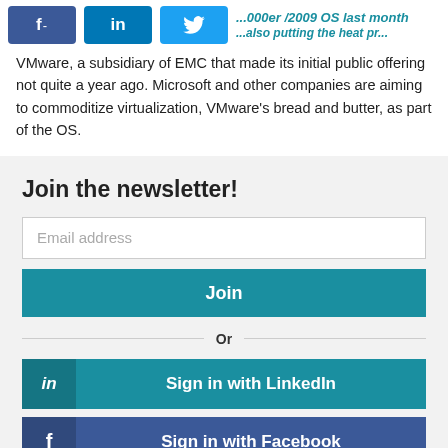[Figure (other): Social media share buttons: Facebook (f), LinkedIn (in), Twitter (bird icon), followed by partially visible article headline text in teal/blue]
VMware, a subsidiary of EMC that made its initial public offering not quite a year ago. Microsoft and other companies are aiming to commoditize virtualization, VMware's bread and butter, as part of the OS.
Join the newsletter!
Email address
Join
Or
Sign in with LinkedIn
Sign in with Facebook